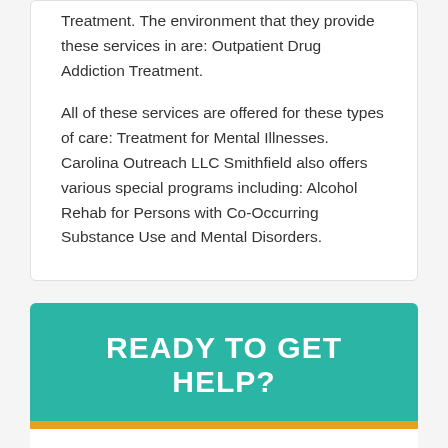Treatment. The environment that they provide these services in are: Outpatient Drug Addiction Treatment.
All of these services are offered for these types of care: Treatment for Mental Illnesses. Carolina Outreach LLC Smithfield also offers various special programs including: Alcohol Rehab for Persons with Co-Occurring Substance Use and Mental Disorders.
READY TO GET HELP?
We can help you find the right treatment facility